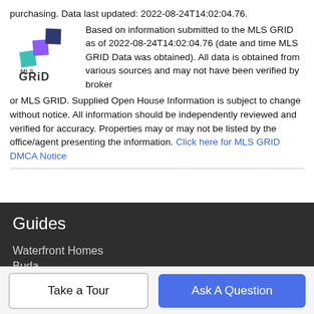purchasing. Data last updated: 2022-08-24T14:02:04.76. Based on information submitted to the MLS GRID as of 2022-08-24T14:02:04.76 (date and time MLS GRID Data was obtained). All data is obtained from various sources and may not have been verified by broker or MLS GRID. Supplied Open House Information is subject to change without notice. All information should be independently reviewed and verified for accuracy. Properties may or may not be listed by the office/agent presenting the information. Click here for MLS GRID DMCA Notice
[Figure (logo): MLS GRID logo with stacked colored squares above text]
Guides
Waterfront Homes
Buda
Cedar Park
Elgin
Georgetown
Take a Tour
Ask A Question